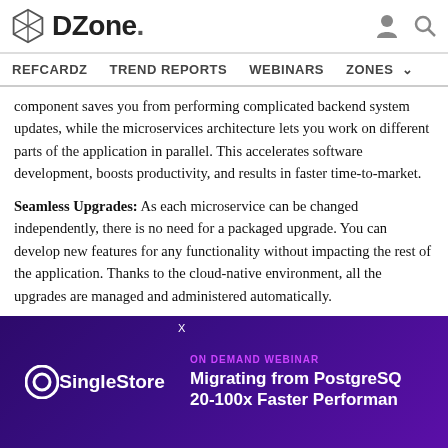DZone. REFCARDZ TREND REPORTS WEBINARS ZONES
component saves you from performing complicated backend system updates, while the microservices architecture lets you work on different parts of the application in parallel. This accelerates software development, boosts productivity, and results in faster time-to-market.
Seamless Upgrades: As each microservice can be changed independently, there is no need for a packaged upgrade. You can develop new features for any functionality without impacting the rest of the application. Thanks to the cloud-native environment, all the upgrades are managed and administered automatically.
Enhanced Innovation: With MACH, you can easily introduce new channels and touchpoints into your infrastructure. This propels growth and...
Fu... you to act faster to modernize your infrastructure. This helps you enrich your tech stack with up-to-date technologies and remain competitive
[Figure (screenshot): SingleStore ON DEMAND WEBINAR advertisement banner: Migrating from PostgreSQL 20-100x Faster Performance]